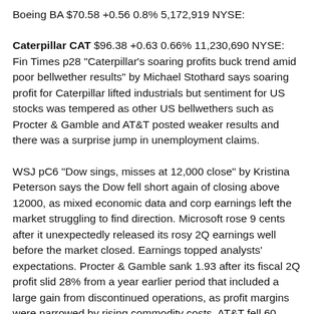Boeing BA $70.58 +0.56 0.8% 5,172,919 NYSE:
Caterpillar CAT $96.38 +0.63 0.66% 11,230,690 NYSE: Fin Times p28 "Caterpillar's soaring profits buck trend amid poor bellwether results" by Michael Stothard says soaring profit for Caterpillar lifted industrials but sentiment for US stocks was tempered as other US bellwethers such as Procter & Gamble and AT&T posted weaker results and there was a surprise jump in unemployment claims.
WSJ pC6 "Dow sings, misses at 12,000 close" by Kristina Peterson says the Dow fell short again of closing above 12000, as mixed economic data and corp earnings left the market struggling to find direction. Microsoft rose 9 cents after it unexpectedly released its rosy 2Q earnings well before the market closed. Earnings topped analysts' expectations. Procter & Gamble sank 1.93 after its fiscal 2Q profit slid 28% from a year earlier period that included a large gain from discontinued operations, as profit margins were narrowed by rising commodity costs. AT&T fell 60 cents hurt by a steep decline int he number of new customers signed to longer term service contract in 4Q. Earnings narrowly beat